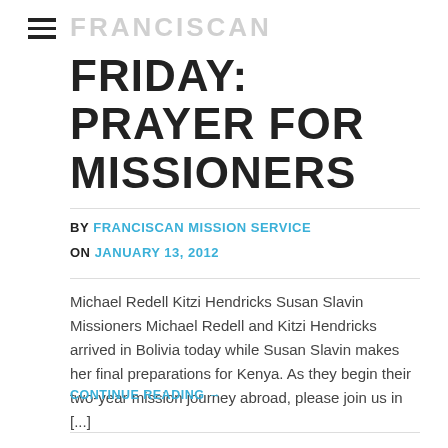FRANCISCAN
FRIDAY: PRAYER FOR MISSIONERS
BY FRANCISCAN MISSION SERVICE
ON JANUARY 13, 2012
Michael Redell Kitzi Hendricks Susan Slavin Missioners Michael Redell and Kitzi Hendricks arrived in Bolivia today while Susan Slavin makes her final preparations for Kenya. As they begin their two-year mission journey abroad, please join us in [...]
CONTINUE READING →